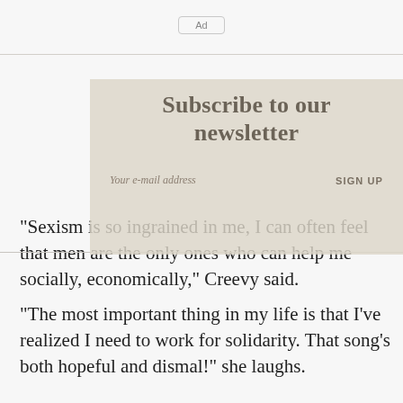[Figure (other): Ad placeholder box with label 'Ad']
[Figure (infographic): Newsletter subscription overlay with title 'Subscribe to our newsletter', email input field placeholder 'Your e-mail address', and 'SIGN UP' button text, on a beige/tan textured background with a faded face image]
“Sexism is so ingrained in me, I can often feel that men are the only ones who can help me socially, economically,” Creevy said.
“The most important thing in my life is that I’ve realized I need to work for solidarity. That song’s both hopeful and dismal!” she laughs.